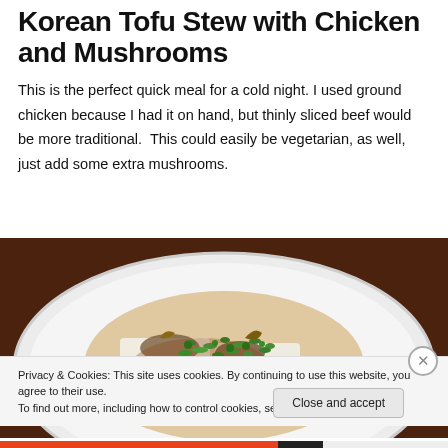Korean Tofu Stew with Chicken and Mushrooms
This is the perfect quick meal for a cold night. I used ground chicken because I had it on hand, but thinly sliced beef would be more traditional.  This could easily be vegetarian, as well, just add some extra mushrooms.
[Figure (photo): A white plate with Korean tofu stew topped with chopped green onions, mushrooms, and sauce, on a dark wooden surface.]
Privacy & Cookies: This site uses cookies. By continuing to use this website, you agree to their use.
To find out more, including how to control cookies, see here: Cookie Policy